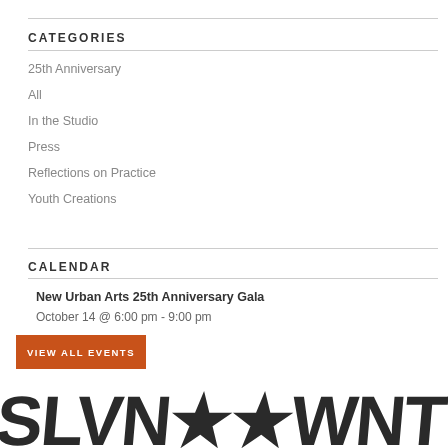CATEGORIES
25th Anniversary
All
In the Studio
Press
Reflections on Practice
Youth Creations
CALENDAR
New Urban Arts 25th Anniversary Gala
October 14 @ 6:00 pm - 9:00 pm
VIEW ALL EVENTS
[Figure (illustration): Decorative typographic banner at the bottom of the page with large dark stylized letters]